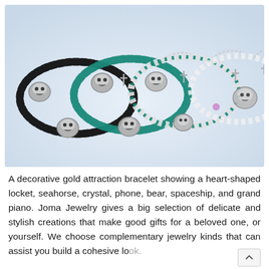[Figure (photo): Four beaded bracelets with silver skull charms and cross pendants laid out overlapping on a white surface. Bracelets are in black, teal/turquoise, white/turquoise, and white with colorful beads.]
A decorative gold attraction bracelet showing a heart-shaped locket, seahorse, crystal, phone, bear, spaceship, and grand piano. Joma Jewelry gives a big selection of delicate and stylish creations that make good gifts for a beloved one, or yourself. We choose complementary jewelry kinds that can assist you build a cohesive lo... Add accessories that can assist you with...